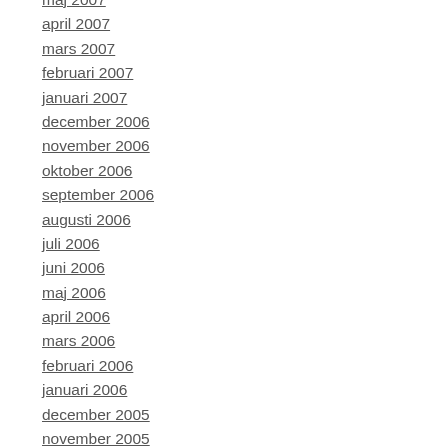maj 2007
april 2007
mars 2007
februari 2007
januari 2007
december 2006
november 2006
oktober 2006
september 2006
augusti 2006
juli 2006
juni 2006
maj 2006
april 2006
mars 2006
februari 2006
januari 2006
december 2005
november 2005